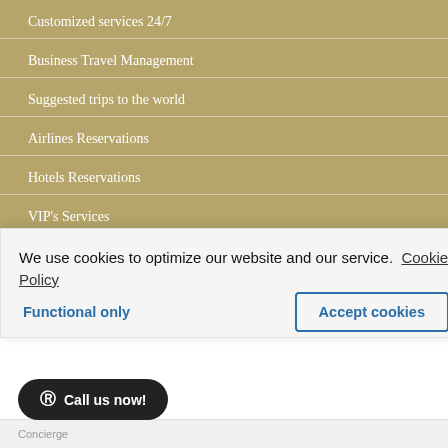Customized services 24/7
Business Travel Management
Suggested trips to the world
Airlines Reservations
Hotels Reservations
VIP's Services
Business Jets & Helicopters
M.I.C.E.
Concierge
We use cookies to optimize our website and our service.  Cookie Policy
Functional only
Accept cookies
Call us now!